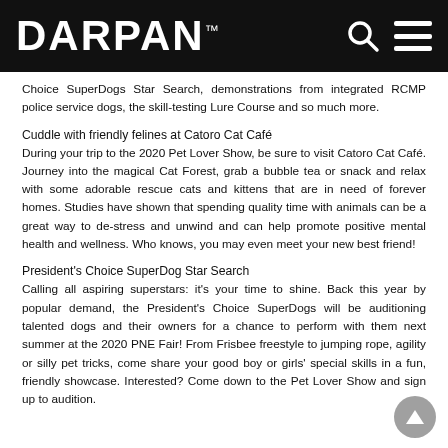DARPAN™
Choice SuperDogs Star Search, demonstrations from integrated RCMP police service dogs, the skill-testing Lure Course and so much more.
Cuddle with friendly felines at Catoro Cat Café
During your trip to the 2020 Pet Lover Show, be sure to visit Catoro Cat Café. Journey into the magical Cat Forest, grab a bubble tea or snack and relax with some adorable rescue cats and kittens that are in need of forever homes. Studies have shown that spending quality time with animals can be a great way to de-stress and unwind and can help promote positive mental health and wellness. Who knows, you may even meet your new best friend!
President's Choice SuperDog Star Search
Calling all aspiring superstars: it's your time to shine. Back this year by popular demand, the President's Choice SuperDogs will be auditioning talented dogs and their owners for a chance to perform with them next summer at the 2020 PNE Fair! From Frisbee freestyle to jumping rope, agility or silly pet tricks, come share your good boy or girls' special skills in a fun, friendly showcase. Interested? Come down to the Pet Lover Show and sign up to audition.